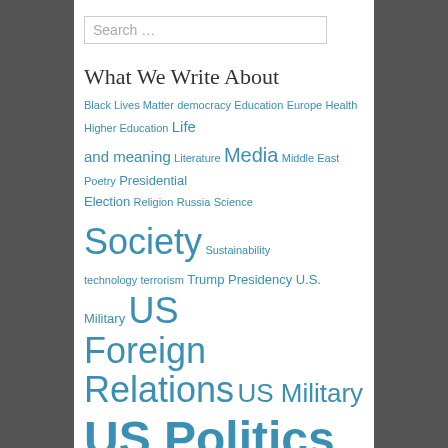Search …
What We Write About
Black Lives Matter democracy Education Europe Health Higher Education Life and meaning Literature Media Middle East Poetry Presidential Election Religion Russia Science Society Sustainability technology terrorism Trump Presidency U.S. Military US Foreign Relations US Military US Politics war
Tags
Afghanistan Afghan War American culture American Empire American exceptionalism American society Barack Obama Bernie Sanders bombing Bush China CIA